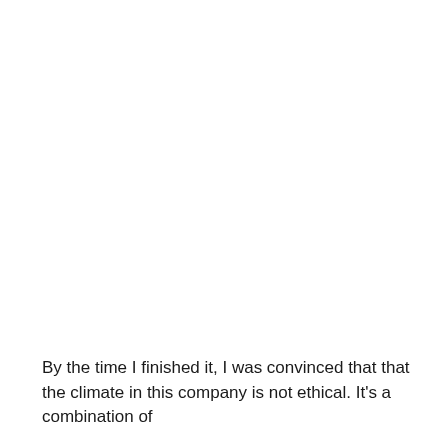By the time I finished it, I was convinced that that the climate in this company is not ethical. It's a combination of